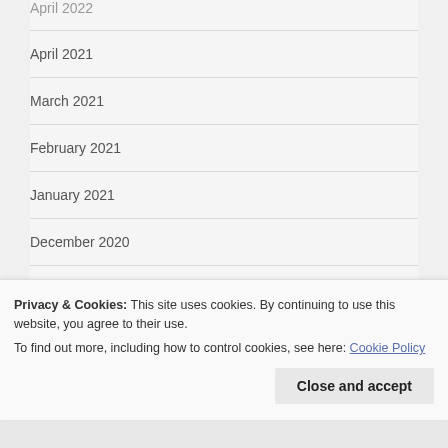April 2022
April 2021
March 2021
February 2021
January 2021
December 2020
October 2020
Privacy & Cookies: This site uses cookies. By continuing to use this website, you agree to their use.
To find out more, including how to control cookies, see here: Cookie Policy
Close and accept